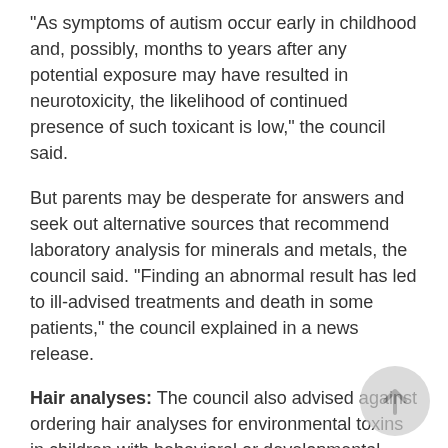"As symptoms of autism occur early in childhood and, possibly, months to years after any potential exposure may have resulted in neurotoxicity, the likelihood of continued presence of such toxicant is low," the council said.
But parents may be desperate for answers and seek out alternative sources that recommend laboratory analysis for minerals and metals, the council said. "Finding an abnormal result has led to ill-advised treatments and death in some patients," the council explained in a news release.
Hair analyses: The council also advised against ordering hair analyses for environmental toxins in children with behavioral or developmental disorders, saying these have no scientific basis.
Mold testing: The council said mold sensitivity testing